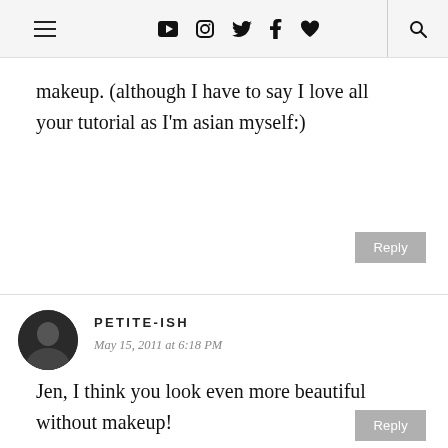Navigation bar with hamburger menu, social icons (YouTube, Instagram, Twitter, Facebook, heart, search)
makeup. (although I have to say I love all your tutorial as I'm asian myself:)
Reply
PETITE-ISH
May 15, 2011 at 6:18 PM
Jen, I think you look even more beautiful without makeup!
Reply